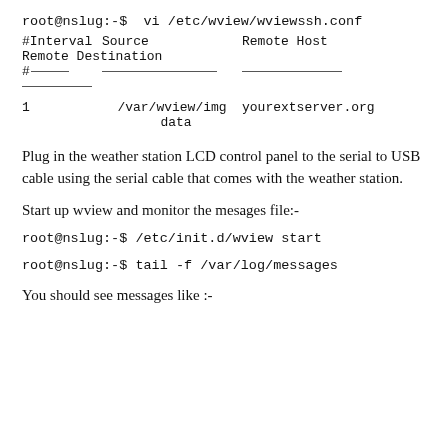root@nslug:-$  vi /etc/wview/wviewssh.conf
| #Interval | Source | Remote Host | Remote Destination |
| --- | --- | --- | --- |
| 1 | /var/wview/img | yourextserver.org | data |
Plug in the weather station LCD control panel to the serial to USB cable using the serial cable that comes with the weather station.
Start up wview and monitor the mesages file:-
root@nslug:-$ /etc/init.d/wview start
root@nslug:-$ tail -f /var/log/messages
You should see messages like :-